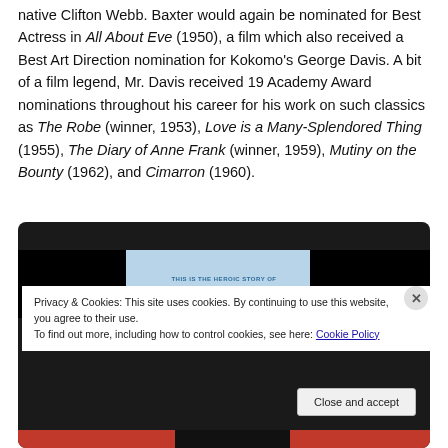native Clifton Webb. Baxter would again be nominated for Best Actress in All About Eve (1950), a film which also received a Best Art Direction nomination for Kokomo's George Davis. A bit of a film legend, Mr. Davis received 19 Academy Award nominations throughout his career for his work on such classics as The Robe (winner, 1953), Love is a Many-Splendored Thing (1955), The Diary of Anne Frank (winner, 1959), Mutiny on the Bounty (1962), and Cimarron (1960).
[Figure (screenshot): Dark-background movie image showing a film strip with a light blue center panel containing text 'THIS IS THE HEROIC STORY OF THE MEN ON THE U.S.S. SAN PABLO', with a cookie consent overlay banner.]